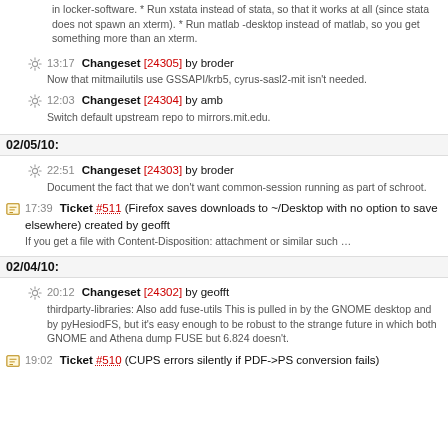in locker-software. * Run xstata instead of stata, so that it works at all (since stata does not spawn an xterm). * Run matlab -desktop instead of matlab, so you get something more than an xterm.
13:17 Changeset [24305] by broder — Now that mitmailutils use GSSAPI/krb5, cyrus-sasl2-mit isn't needed.
12:03 Changeset [24304] by amb — Switch default upstream repo to mirrors.mit.edu.
02/05/10:
22:51 Changeset [24303] by broder — Document the fact that we don't want common-session running as part of schroot.
17:39 Ticket #511 (Firefox saves downloads to ~/Desktop with no option to save elsewhere) created by geofft — If you get a file with Content-Disposition: attachment or similar such …
02/04/10:
20:12 Changeset [24302] by geofft — thirdparty-libraries: Also add fuse-utils This is pulled in by the GNOME desktop and by pyHesiodFS, but it's easy enough to be robust to the strange future in which both GNOME and Athena dump FUSE but 6.824 doesn't.
19:02 Ticket #510 (CUPS errors silently if PDF->PS conversion fails)